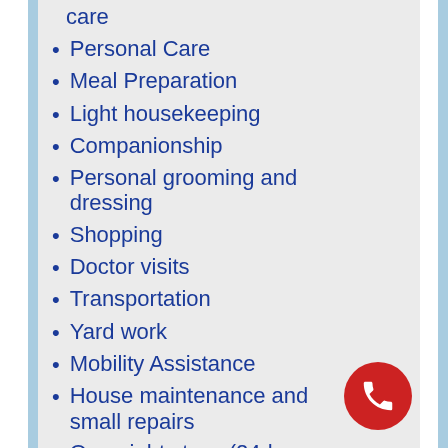care
Personal Care
Meal Preparation
Light housekeeping
Companionship
Personal grooming and dressing
Shopping
Doctor visits
Transportation
Yard work
Mobility Assistance
House maintenance and small repairs
Overnight stays (24-hour